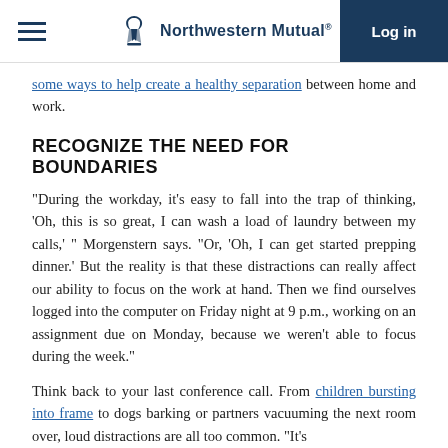Northwestern Mutual | Log in
some ways to help create a healthy separation between home and work.
RECOGNIZE THE NEED FOR BOUNDARIES
“During the workday, it’s easy to fall into the trap of thinking, ‘Oh, this is so great, I can wash a load of laundry between my calls,’ ” Morgenstern says. “Or, ‘Oh, I can get started prepping dinner.’ But the reality is that these distractions can really affect our ability to focus on the work at hand. Then we find ourselves logged into the computer on Friday night at 9 p.m., working on an assignment due on Monday, because we weren't able to focus during the week.”
Think back to your last conference call. From children bursting into frame to dogs barking or partners vacuuming the next room over, loud distractions are all too common. “It’s